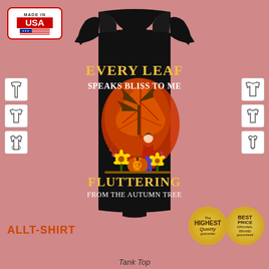[Figure (photo): Product listing page for a black tank top with autumn/fall theme. The shirt reads 'Every Leaf Speaks Bliss To Me Fluttering From The Autumn Tree' with a colorful fall graphic featuring a hippie girl, maple leaf, pumpkins and sunflowers. Page shows 'Made in USA' badge top left, garment type icons on left and right sides, gold quality badges bottom right, 'ALLT-SHIRT' brand logo bottom left.]
Tank Top